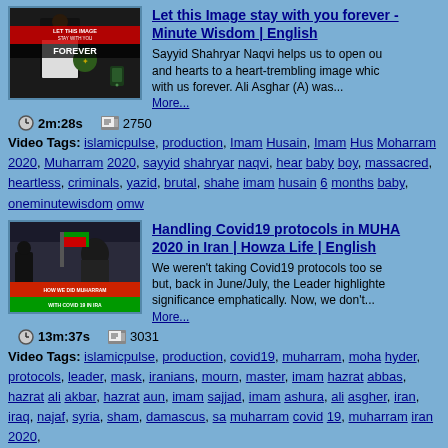[Figure (screenshot): Video thumbnail showing a man in black robe with text 'LET THIS IMAGE STAY WITH YOU FOREVER']
Let this Image stay with you forever - Minute Wisdom | English
Sayyid Shahryar Naqvi helps us to open our and hearts to a heart-trembling image which with us forever. Ali Asghar (A) was...
More...
2m:28s   2750
Video Tags: islamicpulse, production, Imam Husain, Imam Husain, Moharram 2020, Muharram 2020, sayyid shahryar naqvi, heartless baby boy, massacred, heartless, criminals, yazid, brutal, shaheed imam husain 6 months baby, oneminutewisdom omw
[Figure (screenshot): Video thumbnail showing people with flags and text 'HOW WE DID MUHARRAM WITH COVID 19 IN IRAN']
Handling Covid19 protocols in MUHARRAM 2020 in Iran | Howza Life | English
We weren't taking Covid19 protocols too seriously but, back in June/July, the Leader highlighted their significance emphatically. Now, we don't...
More...
13m:37s   3031
Video Tags: islamicpulse, production, covid19, muharram, moharram, hyder, protocols, leader, mask, iranians, mourn, master, imam hazrat abbas, hazrat ali akbar, hazrat aun, imam sajjad, imam ashura, ali asgher, iran, iraq, najaf, syria, sham, damascus, sayyid muharram covid 19, muharram iran 2020,